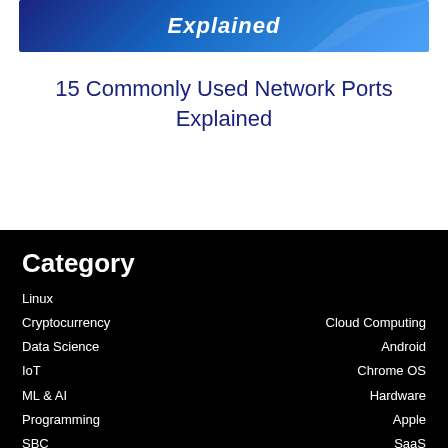[Figure (illustration): Blue banner with the text 'Explained' in white bold italic letters, with decorative wave graphic on right side]
15 Commonly Used Network Ports Explained
Category
Linux
Cryptocurrency
Cloud Computing
Data Science
Android
IoT
Chrome OS
ML & AI
Hardware
Programming
Apple
SBC
SaaS
Links
Stay connected